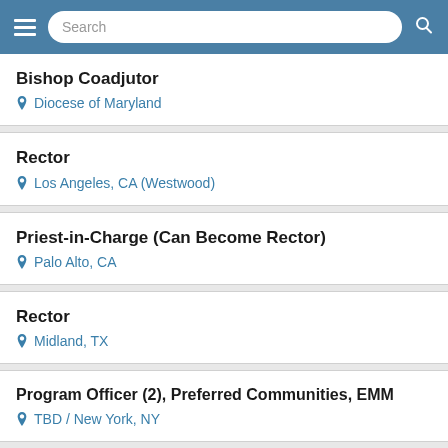Search
Bishop Coadjutor | Diocese of Maryland
Rector | Los Angeles, CA (Westwood)
Priest-in-Charge (Can Become Rector) | Palo Alto, CA
Rector | Midland, TX
Program Officer (2), Preferred Communities, EMM | TBD / New York, NY
Rector | Wicomico Church, VA